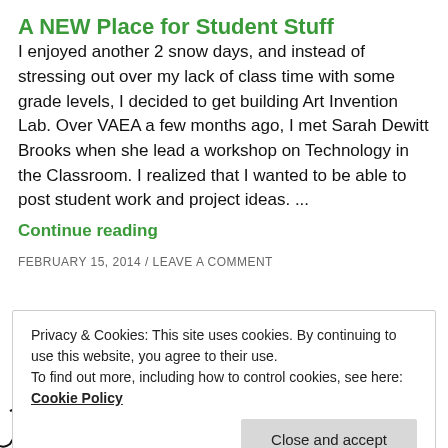A NEW Place for Student Stuff
I enjoyed another 2 snow days, and instead of stressing out over my lack of class time with some grade levels, I decided to get building Art Invention Lab. Over VAEA a few months ago, I met Sarah Dewitt Brooks when she lead a workshop on Technology in the Classroom. I realized that I wanted to be able to post student work and project ideas. ...
Continue reading
FEBRUARY 15, 2014 / LEAVE A COMMENT
Privacy & Cookies: This site uses cookies. By continuing to use this website, you agree to their use.
To find out more, including how to control cookies, see here:
Cookie Policy
Close and accept
[Figure (illustration): Bottom portion of a decorative black and white illustration with abstract patterns, partially cropped at the bottom of the page.]